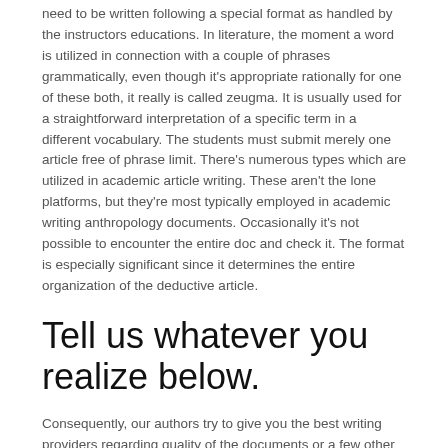need to be written following a special format as handled by the instructors educations. In literature, the moment a word is utilized in connection with a couple of phrases grammatically, even though it's appropriate rationally for one of these both, it really is called zeugma. It is usually used for a straightforward interpretation of a specific term in a different vocabulary. The students must submit merely one article free of phrase limit. There's numerous types which are utilized in academic article writing. These aren't the lone platforms, but they're most typically employed in academic writing anthropology documents. Occasionally it's not possible to encounter the entire doc and check it. The format is especially significant since it determines the entire organization of the deductive article.
Tell us whatever you realize below.
Consequently, our authors try to give you the best writing providers regarding quality of the documents or a few other composing solutions. They give you unmatched options to detect your course for a student. If this's your anticipations, then we're here to provide you with such variety of composing providers. Possibly It does maybe